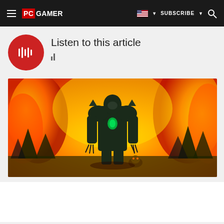PC GAMER | SUBSCRIBE
Listen to this article
[Figure (screenshot): World of Warcraft style game character in dark green armor standing in front of a large fire/burning forest, with a small companion creature at feet]